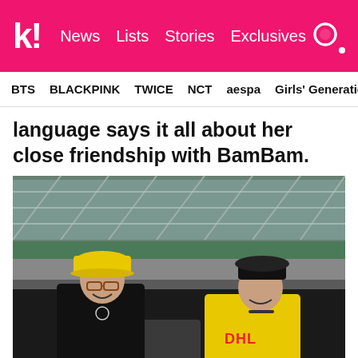k! News  Lists  Stories  Exclusives
BTS  BLACKPINK  TWICE  NCT  aespa  Girls' Generation
language says it all about her close friendship with BamBam.
[Figure (photo): Two young people sitting at what appears to be an airport. The person on the left wears a yellow cap, glasses, and a black outfit. The person on the right has a black cap and wears a yellow DHL t-shirt. Both are smiling. The background shows an airport terminal interior with large glass windows and green structural elements.]